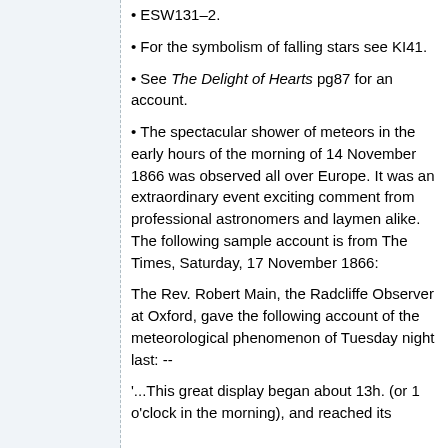ESW131–2.
For the symbolism of falling stars see KI41.
See The Delight of Hearts pg87 for an account.
The spectacular shower of meteors in the early hours of the morning of 14 November 1866 was observed all over Europe. It was an extraordinary event exciting comment from professional astronomers and laymen alike. The following sample account is from The Times, Saturday, 17 November 1866:
The Rev. Robert Main, the Radcliffe Observer at Oxford, gave the following account of the meteorological phenomenon of Tuesday night last: --
'...This great display began about 13h. (or 1 o'clock in the morning), and reached its